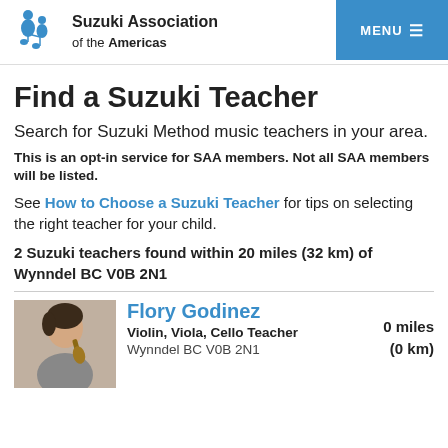Suzuki Association of the Americas | MENU
Find a Suzuki Teacher
Search for Suzuki Method music teachers in your area.
This is an opt-in service for SAA members. Not all SAA members will be listed.
See How to Choose a Suzuki Teacher for tips on selecting the right teacher for your child.
2 Suzuki teachers found within 20 miles (32 km) of Wynndel BC V0B 2N1
Flory Godinez
Violin, Viola, Cello Teacher
Wynndel BC V0B 2N1
0 miles (0 km)